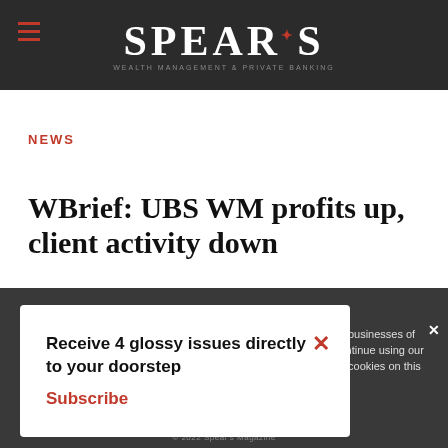SPEAR'S
NEWS
WBrief: UBS WM profits up, client activity down
Receive 4 glossy issues directly to your doorstep Subscribe
businesses of continue using our all cookies on this
Continue  Learn more